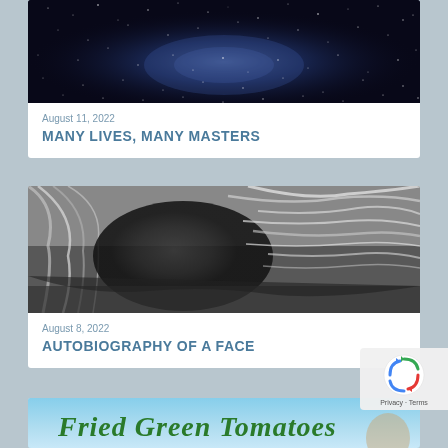[Figure (photo): Night sky / Milky Way galaxy photo with stars on dark blue background]
August 11, 2022
MANY LIVES, MANY MASTERS
[Figure (photo): Black and white photo of a person with long windswept hair covering their face]
August 8, 2022
AUTOBIOGRAPHY OF A FACE
[Figure (photo): Fried Green Tomatoes book/film cover with green text and blue sky background]
[Figure (logo): reCAPTCHA logo with Privacy and Terms links]